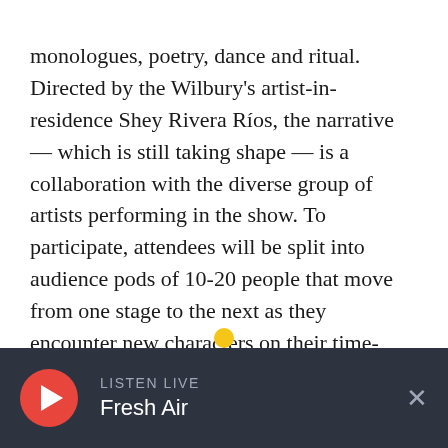monologues, poetry, dance and ritual. Directed by the Wilbury's artist-in-residence Shey Rivera Ríos, the narrative — which is still taking shape — is a collaboration with the diverse group of artists performing in the show. To participate, attendees will be split into audience pods of 10-20 people that move from one stage to the next as they encounter new characters on their time-twisting voyage. The show will be presented outdoors at the WaterFire Arts Center and the nearby American Locomotive Works campus starting Oct. 1 at 6:30 p.m. Tickets are here.
LISTEN LIVE Fresh Air